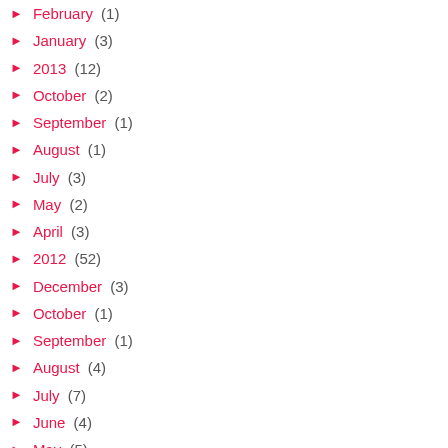► February (1)
► January (3)
► 2013 (12)
► October (2)
► September (1)
► August (1)
► July (3)
► May (2)
► April (3)
► 2012 (52)
► December (3)
► October (1)
► September (1)
► August (4)
► July (7)
► June (4)
► May (5)
► April (2)
► March (8)